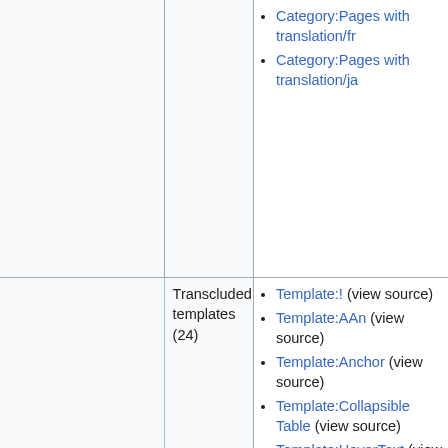Category:Pages with translation/fr
Category:Pages with translation/ja
Transcluded templates (24)
Template:! (view source)
Template:AAn (view source)
Template:Anchor (view source)
Template:Collapsible Table (view source)
Template:HoverText (view source)
Template:It (view source)
Template:JiraSearch/LSL Bugs (view source)
Template:JiraSearch/LSL Issues (view source)